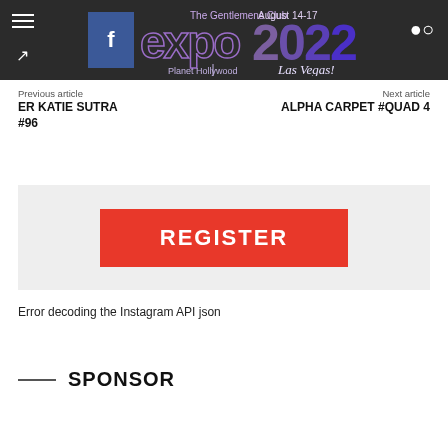The Gentlemens Club expo 2022 August 14-17 Planet Hollywood Las Vegas!
Previous article
ER KATIE SUTRA #96
Next article
ALPHA CARPET #QUAD 4
[Figure (other): Red REGISTER button on light grey background]
Error decoding the Instagram API json
SPONSOR